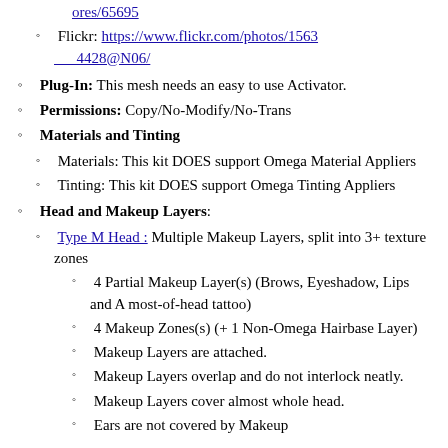Flickr: https://www.flickr.com/photos/15634428@N06/
Plug-In: This mesh needs an easy to use Activator.
Permissions: Copy/No-Modify/No-Trans
Materials and Tinting
Materials: This kit DOES support Omega Material Appliers
Tinting: This kit DOES support Omega Tinting Appliers
Head and Makeup Layers:
Type M Head : Multiple Makeup Layers, split into 3+ texture zones
4 Partial Makeup Layer(s) (Brows, Eyeshadow, Lips and A most-of-head tattoo)
4 Makeup Zones(s) (+ 1 Non-Omega Hairbase Layer)
Makeup Layers are attached.
Makeup Layers overlap and do not interlock neatly.
Makeup Layers cover almost whole head.
Ears are not covered by Makeup